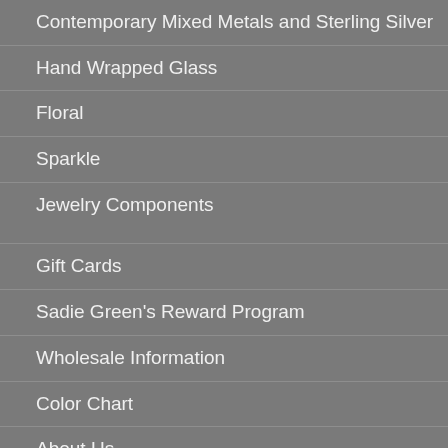Contemporary Mixed Metals and Sterling Silver
Hand Wrapped Glass
Floral
Sparkle
Jewelry Components
Gift Cards
Sadie Green's Reward Program
Wholesale Information
Color Chart
About Us
My Account
Cart
FAQ